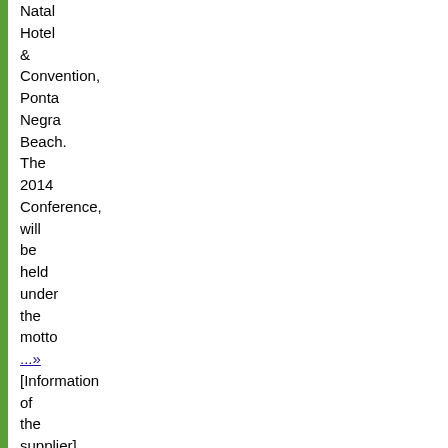Natal Hotel & Convention, Ponta Negra Beach. The 2014 Conference, will be held under the motto ...» [Information of the supplier]
www.hbes.com/conference/
- Details - Ähnliche - Fehler melden? ..
5. ESHE - 3rd Annual